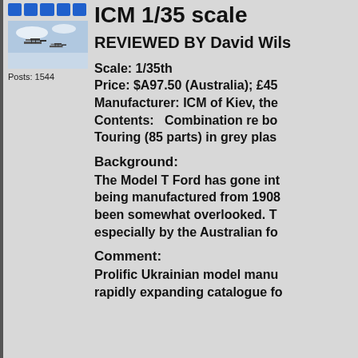ICM 1/35 scale
REVIEWED BY David Wils
Scale: 1/35th
Price: $A97.50 (Australia); £45
Manufacturer: ICM of Kiev, the
Contents: Combination re bo
Touring (85 parts) in grey plas
Background:
The Model T Ford has gone int
being manufactured from 1908
been somewhat overlooked. T
especially by the Australian fo
Comment:
Prolific Ukrainian model manu
rapidly expanding catalogue fo